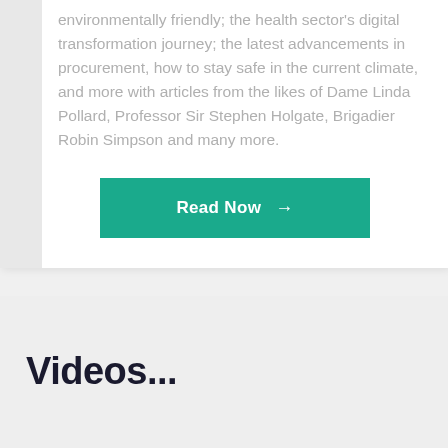environmentally friendly; the health sector's digital transformation journey; the latest advancements in procurement, how to stay safe in the current climate, and more with articles from the likes of Dame Linda Pollard, Professor Sir Stephen Holgate, Brigadier Robin Simpson and many more.
[Figure (other): Teal/green 'Read Now' call-to-action button with right arrow]
Videos...